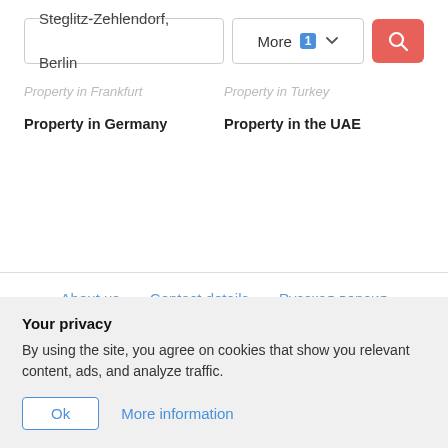Steglitz-Zehlendorf, Berlin
More 1 ▾
Property in Frankfurt
Property in Turkey
Property in Germany
Property in the UAE
About us
Contact details
Русская версия
Privacy Policy
Advertise
Your privacy
By using the site, you agree on cookies that show you relevant content, ads, and analyze traffic.
Ok
More information